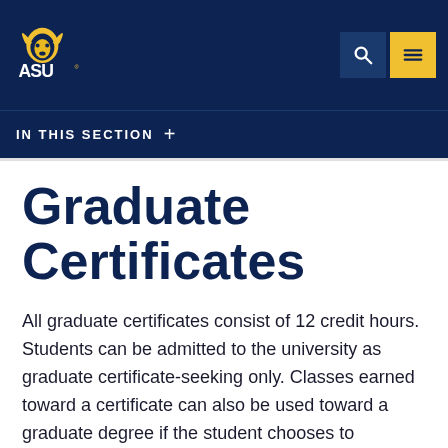[Figure (logo): ASU Angelo State University logo — white ram head with yellow horns and white ASU text on navy background]
IN THIS SECTION +
Graduate Certificates
All graduate certificates consist of 12 credit hours. Students can be admitted to the university as graduate certificate-seeking only. Classes earned toward a certificate can also be used toward a graduate degree if the student chooses to continue into the 36-hour graduate program. To apply for admission into the